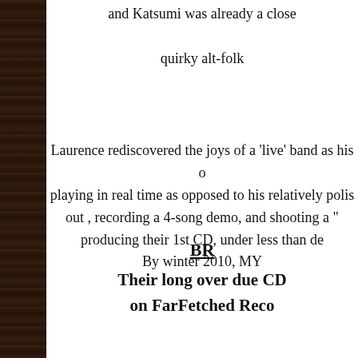and Katsumi was already a close quirky alt-folk
Laurence rediscovered the joys of a 'live' band as his o playing in real time as opposed to his relatively polis out , recording a 4-song demo, and shooting a " producing their 1st CD, under less than de By winter 2010, MY
BR
Their long over due CD on FarFetched Reco